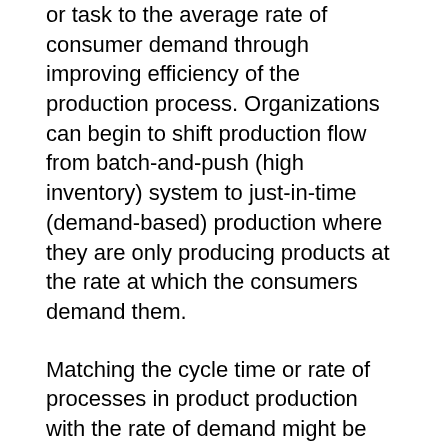or task to the average rate of consumer demand through improving efficiency of the production process. Organizations can begin to shift production flow from batch-and-push (high inventory) system to just-in-time (demand-based) production where they are only producing products at the rate at which the consumers demand them.
Matching the cycle time or rate of processes in product production with the rate of demand might be impossible, especially if the product need time to mature and there is an agreement-based relationship with suppliers which means that raw material is always in supply even when production isn't taking place or there is no demand.
On the contrary, producing to Takt Time is more realistic in some stages of productions such as packaging and branding. In this situation, managers need to ensure that the rate of every process is less than Takt time, or they will not meet client's demands without delays or the need of overtime. They can ensure this through plotting a simple graph to contrast